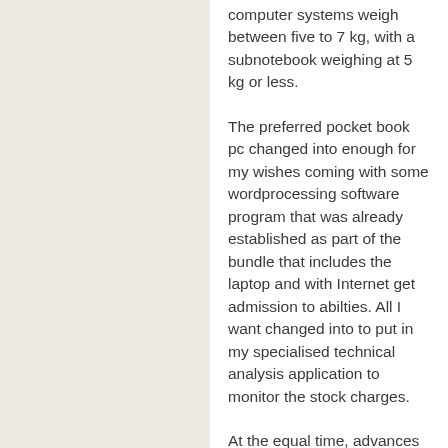computer systems weigh between five to 7 kg, with a subnotebook weighing at 5 kg or less.
The preferred pocket book pc changed into enough for my wishes coming with some wordprocessing software program that was already established as part of the bundle that includes the laptop and with Internet get admission to abilties. All I want changed into to put in my specialised technical analysis application to monitor the stock charges.
At the equal time, advances in pocket book laptop